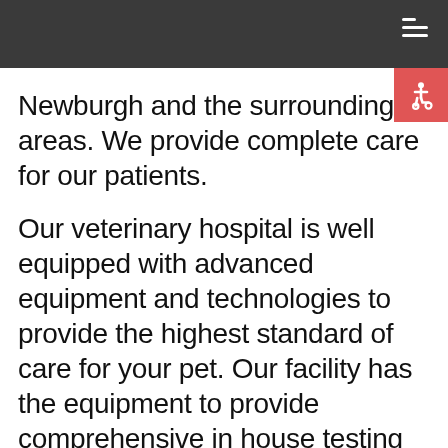[Figure (other): Accessibility icon button (wheelchair symbol) on red/salmon background, positioned top-right below header]
Newburgh and the surrounding areas. We provide complete care for our patients.

Our veterinary hospital is well equipped with advanced equipment and technologies to provide the highest standard of care for your pet. Our facility has the equipment to provide comprehensive in house testing for accurate diagnosis, digital x-ray, ultrasound, surgical suite,